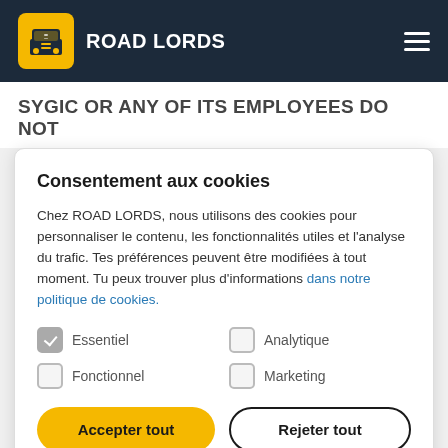ROAD LORDS
SYGIC OR ANY OF ITS EMPLOYEES DO NOT
Consentement aux cookies
Chez ROAD LORDS, nous utilisons des cookies pour personnaliser le contenu, les fonctionnalités utiles et l'analyse du trafic. Tes préférences peuvent être modifiées à tout moment. Tu peux trouver plus d'informations dans notre politique de cookies.
Essentiel (checked)
Analytique (unchecked)
Fonctionnel (unchecked)
Marketing (unchecked)
Accepter tout | Rejeter tout
YOUR UNSOLICITED IDEAS TO Sygic OR ANYONE AT